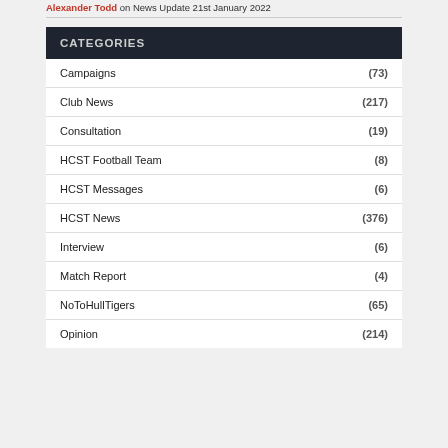Alexander Todd on News Update 21st January 2022
CATEGORIES
Campaigns (73)
Club News (217)
Consultation (19)
HCST Football Team (8)
HCST Messages (6)
HCST News (376)
Interview (6)
Match Report (4)
NoToHullTigers (65)
Opinion (214)